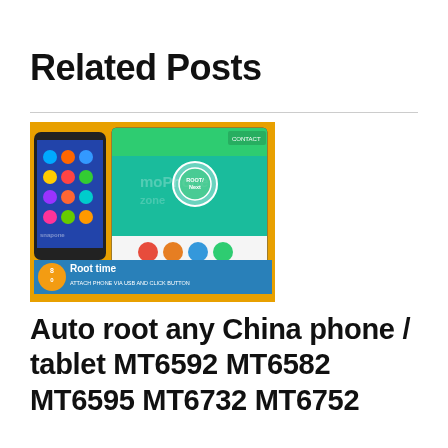Related Posts
[Figure (screenshot): Screenshot showing a smartphone rooting app interface. A phone with colorful app icons on an orange/yellow background, and a PC screen showing a green interface with a circular button labeled 'ROOT/Next', colored circular icons (red, orange, blue, green), and a banner reading 'Root time ATTACH PHONE VIA USB AND CLICK BUTTON'.]
Auto root any China phone / tablet MT6592 MT6582 MT6595 MT6732 MT6752